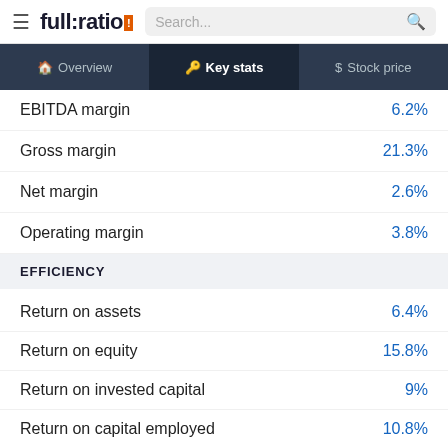full:ratio | Key stats
EBITDA margin: 6.2%
Gross margin: 21.3%
Net margin: 2.6%
Operating margin: 3.8%
EFFICIENCY
Return on assets: 6.4%
Return on equity: 15.8%
Return on invested capital: 9%
Return on capital employed: 10.8%
Return on sales: 3.8%